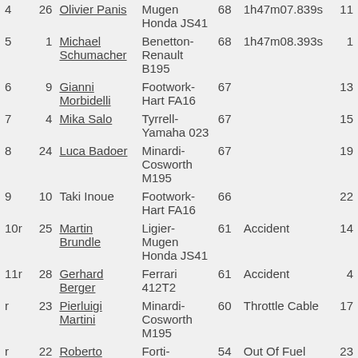| Pos | No | Driver | Car | Laps | Time/Retired | Grid |
| --- | --- | --- | --- | --- | --- | --- |
| 4 | 26 | Olivier Panis | Mugen Honda JS41 | 68 | 1h47m07.839s | 11 |
| 5 | 1 | Michael Schumacher | Benetton-Renault B195 | 68 | 1h47m08.393s | 1 |
| 6 | 9 | Gianni Morbidelli | Footwork-Hart FA16 | 67 |  | 13 |
| 7 | 4 | Mika Salo | Tyrrell-Yamaha 023 | 67 |  | 15 |
| 8 | 24 | Luca Badoer | Minardi-Cosworth M195 | 67 |  | 19 |
| 9 | 10 | Taki Inoue | Footwork-Hart FA16 | 66 |  | 22 |
| 10r | 25 | Martin Brundle | Ligier-Mugen Honda JS41 | 61 | Accident | 14 |
| 11r | 28 | Gerhard Berger | Ferrari 412T2 | 61 | Accident | 4 |
| r | 23 | Pierluigi Martini | Minardi-Cosworth M195 | 60 | Throttle Cable | 17 |
| r | 22 | Roberto | Forti-Cosworth | 54 | Out Of Fuel | 23 |